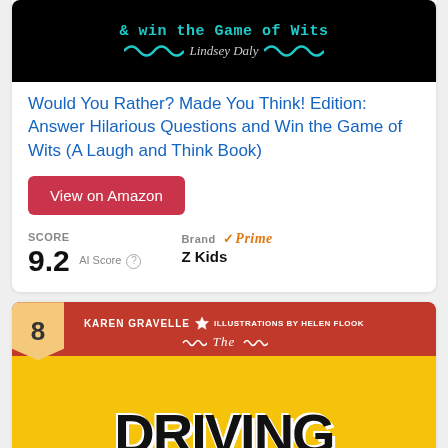[Figure (photo): Book cover for 'Would You Rather? Made You Think! Edition' by Lindsey Daly, black background with teal wavy lines and author name]
Would You Rather? Made You Think! Edition: Answer Hilarious Questions and Win the Game of Wits (A Laugh and Think Book)
View on Amazon
SCORE
9.2  AI Score
Brand
Prime
Z Kids
[Figure (photo): Book cover for 'The Driving' by Karen Gravelle, illustrations by Helen Flook, red background with yellow lower section and large black 'THE DRIVING' text, ranked #8]